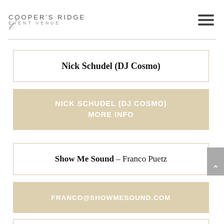Cooper's Ridge Event Venue
Nick Schudel (DJ Cosmo)
NICK SCHUDEL (DJ COSMO) MORE INFO
Show Me Sound – Franco Puetz
FRANCO@SHOWMESOUND.COM